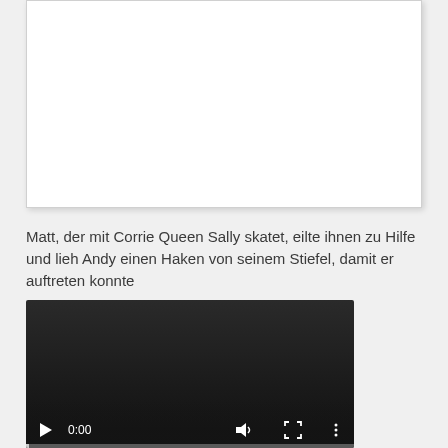[Figure (other): White rectangular image/content box with light border and shadow]
Matt, der mit Corrie Queen Sally skatet, eilte ihnen zu Hilfe und lieh Andy einen Haken von seinem Stiefel, damit er auftreten konnte
[Figure (screenshot): Video player with dark background, showing 0:00 timestamp, play button, volume icon, fullscreen icon, options icon, and a progress bar at the bottom]